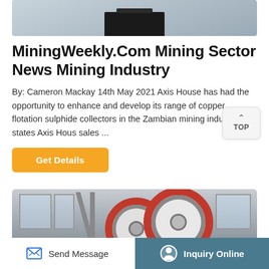[Figure (photo): Top image showing industrial mining equipment, partially cropped at the top of the page]
MiningWeekly.Com Mining Sector News Mining Industry
By: Cameron Mackay 14th May 2021 Axis House has had the opportunity to enhance and develop its range of copper flotation sulphide collectors in the Zambian mining industry, states Axis Hous sales ...
[Figure (other): TOP navigation button with upward chevron arrow]
[Figure (other): Get Details orange button]
[Figure (photo): Bottom image showing large industrial jaw crusher machinery in a factory setting with red flywheel]
[Figure (other): Bottom navigation bar with Send Message on left and Inquiry Online on right (teal background)]